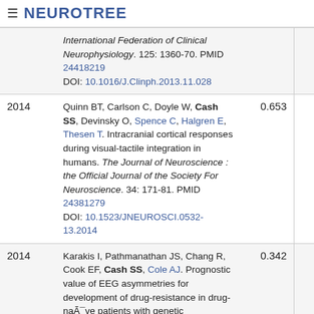≡ NEUROTREE
| Year | Reference | Score |
| --- | --- | --- |
|  | International Federation of Clinical Neurophysiology. 125: 1360-70. PMID 24418219 DOI: 10.1016/J.Clinph.2013.11.028 |  |
| 2014 | Quinn BT, Carlson C, Doyle W, Cash SS, Devinsky O, Spence C, Halgren E, Thesen T. Intracranial cortical responses during visual-tactile integration in humans. The Journal of Neuroscience : the Official Journal of the Society For Neuroscience. 34: 171-81. PMID 24381279 DOI: 10.1523/JNEUROSCI.0532-13.2014 | 0.653 |
| 2014 | Karakis I, Pathmanathan JS, Chang R, Cook EF, Cash SS, Cole AJ. Prognostic value of EEG asymmetries for development of drug-resistance in drug-naïve patients with genetic generalized epilepsies. Clinical Neurophysiology : Official Journal of the International Federation of Clinical Neurophysiology. 125: 263-9. PMID 24095154 DOI: 10.1016/J.Clinph.2013.07.028 | 0.342 |